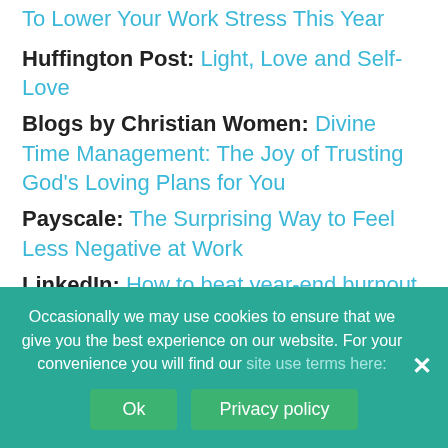To Lower Your Work Stress This Year
Huffington Post: Light, Love and Self-Love
Blogs by Christian Women: Divine Time Management: The Joy of Trusting God's Loving Plans for You
Payscale: The Surprising Way to Feel Less Negative at Work
LinkedIn: How to beat year-end burnout, this is when you're most productive, and more trending stories
Harvard Business Review: To Recover from
Occasionally we may use cookies to ensure that we give you the best experience on our website. For your convenience you will find our site use terms here: